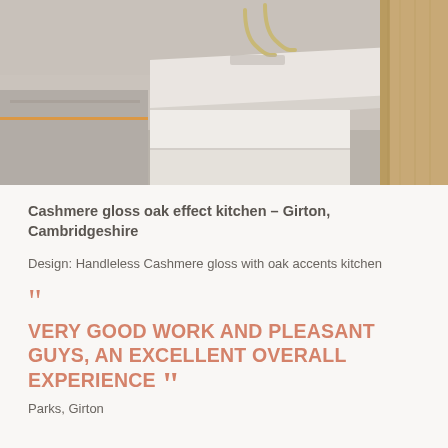[Figure (photo): Kitchen interior showing cashmere gloss countertops with oak effect panels, a white stone island surface, gold-toned faucet, and warm amber under-cabinet lighting accents]
Cashmere gloss oak effect kitchen – Girton, Cambridgeshire
Design: Handleless Cashmere gloss with oak accents kitchen
VERY GOOD WORK AND PLEASANT GUYS, AN EXCELLENT OVERALL EXPERIENCE
Parks, Girton